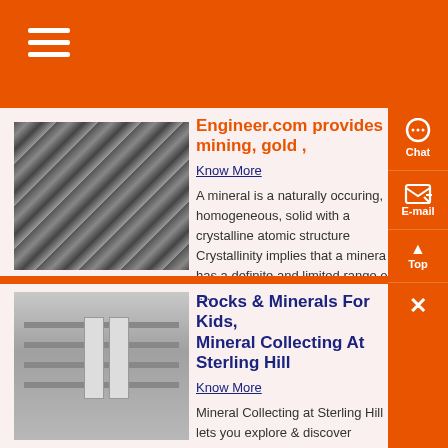Engineer.com provides mining, gold ,
Know More
A mineral is a naturally occuring, homogeneous, solid with a crystalline atomic structure Crystallinity implies that a mineral has a definite and limited range o....
[Figure (photo): Coiled metal wire or cable, industrial material]
Rocks & Minerals For Kids, Mineral Collecting At Sterling Hill
Know More
Mineral Collecting at Sterling Hill lets you explore & discover
[Figure (photo): Industrial electrical equipment or circuit board]